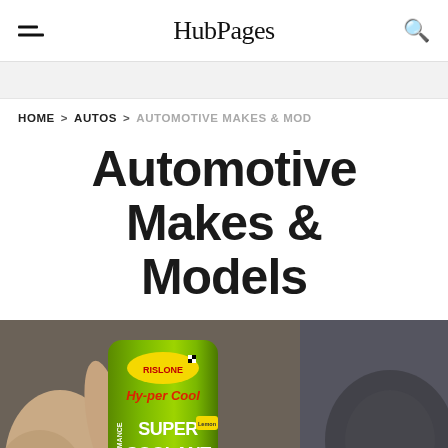HubPages
HOME > AUTOS > AUTOMOTIVE MAKES & MOD
Automotive Makes & Models
[Figure (photo): A hand holding a green can of Rislone Hy-per Cool Super Coolant product, with a tire and car visible in the blurred background. The can label reads: RISLONE, Hy-per Cool, SUPER COOLANT, Reduces Engine Temperatur...]